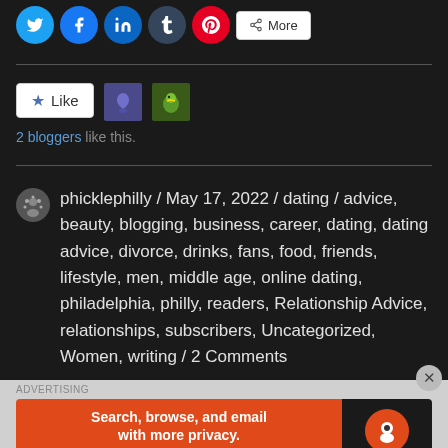[Figure (other): Social share buttons: Twitter, Facebook, LinkedIn, Tumblr, Pinterest circles and a More button]
[Figure (other): Like button with star icon and two blogger avatar thumbnails (purple and green parrot)]
2 bloggers like this.
phicklephilly / May 17, 2022 / dating / advice, beauty, blogging, business, career, dating, dating advice, divorce, drinks, fans, food, friends, lifestyle, men, middle age, online dating, philadelphia, philly, readers, Relationship Advice, relationships, subscribers, Uncategorized, Women, writing / 2 Comments
[Figure (other): DuckDuckGo advertisement banner: Search, browse, and email with more privacy. All in One Free App]